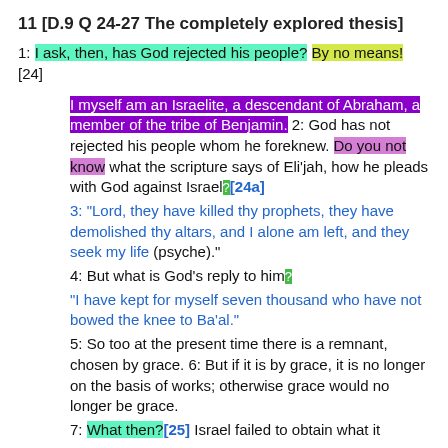11 [D.9 Q 24-27 The completely explored thesis]
1: I ask, then, has God rejected his people? By no means! [24]
I myself am an Israelite, a descendant of Abraham, a member of the tribe of Benjamin. 2: God has not rejected his people whom he foreknew. Do you not know what the scripture says of Eli'jah, how he pleads with God against Israel?[24a] 3: "Lord, they have killed thy prophets, they have demolished thy altars, and I alone am left, and they seek my life (psyche)." 4: But what is God's reply to him? "I have kept for myself seven thousand who have not bowed the knee to Ba'al." 5: So too at the present time there is a remnant, chosen by grace. 6: But if it is by grace, it is no longer on the basis of works; otherwise grace would no longer be grace. 7: What then?[25] Israel failed to obtain what it